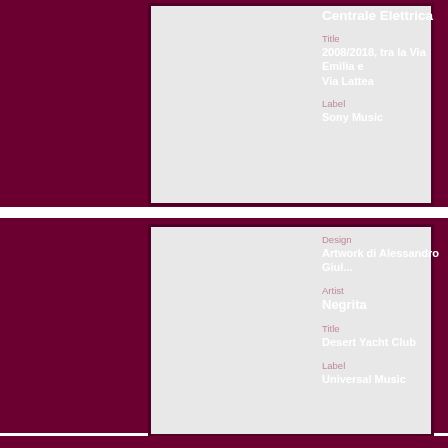[Figure (photo): Album cover image placeholder (light gray rectangle) for Centrale Elettrica]
Centrale Elettrica
Title
2008/2018, tra la Via Emilia e Via Lattea
Label
Sony Music
[Figure (photo): Album cover image placeholder (light gray rectangle) for Negrita - Desert Yacht Club]
Design
Artwork di Alessandro Giul...
Artist
Negrita
Title
Desert Yacht Club
Label
Universal Music